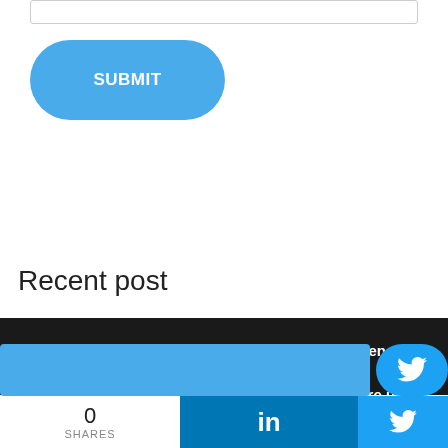[Figure (screenshot): Input text field bar at top of page]
[Figure (screenshot): Blue rounded SUBMIT button]
Recent post
We are using cookies to give you the best experience on our website.
You can find out more about which cookies we are using or switch them off in settings.
[Figure (screenshot): Social share bar with 0 SHARES, LinkedIn (in) button, and Twitter bird button]